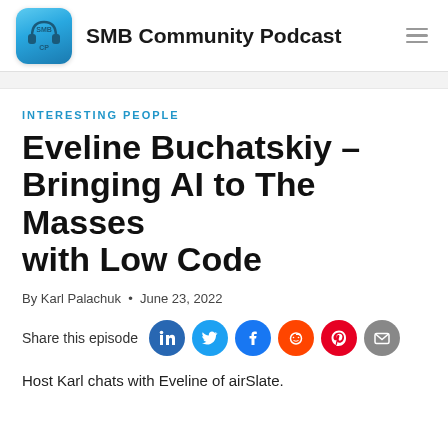SMB Community Podcast
INTERESTING PEOPLE
Eveline Buchatskiy – Bringing AI to The Masses with Low Code
By Karl Palachuk • June 23, 2022
Share this episode
Host Karl chats with Eveline of airSlate.